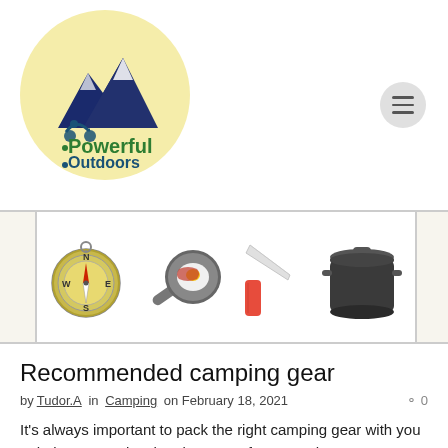[Figure (logo): Powerful Outdoors logo: circular yellow background with mountain silhouette in dark blue and motorcycle rider, with text 'Powerful Outdoors' in green and blue]
[Figure (illustration): Banner strip showing four camping-related icons: a compass, a frying pan with egg, a kitchen knife, and a black cooking pot with lid]
Recommended camping gear
by Tudor.A in Camping on February 18, 2021  ◯ 0
It's always important to pack the right camping gear with you to help you survive the elements of nature. There are so many comforting upgrades that can make